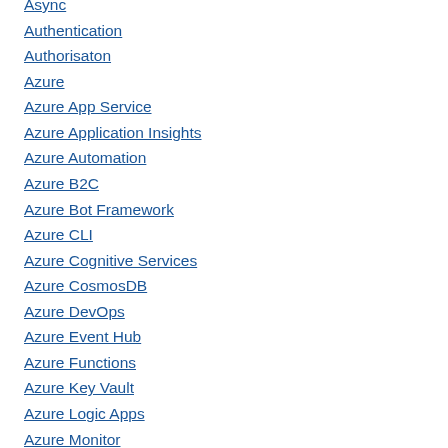Async
Authentication
Authorisaton
Azure
Azure App Service
Azure Application Insights
Azure Automation
Azure B2C
Azure Bot Framework
Azure CLI
Azure Cognitive Services
Azure CosmosDB
Azure DevOps
Azure Event Hub
Azure Functions
Azure Key Vault
Azure Logic Apps
Azure Monitor
Azure Service Bus